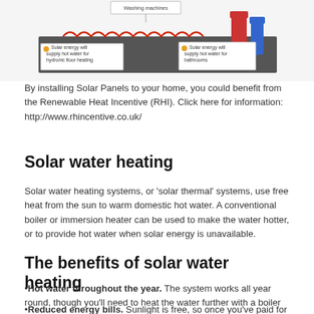[Figure (illustration): Diagram of a home with solar panels showing hydronic floor heating system with annotations: 'Solar energy will supply hot water for hydronic floor heating' and 'Solar energy will supply hot water for bathrooms', with piping shown in red/blue.]
By installing Solar Panels to your home, you could benefit from the Renewable Heat Incentive (RHI). Click here for information: http://www.rhincentive.co.uk/
Solar water heating
Solar water heating systems, or 'solar thermal' systems, use free heat from the sun to warm domestic hot water. A conventional boiler or immersion heater can be used to make the water hotter, or to provide hot water when solar energy is unavailable.
The benefits of solar water heating
Hot water throughout the year. The system works all year round, though you'll need to heat the water further with a boiler or immersion heater during the winter months.
Reduced energy bills. Sunlight is free, so once you've paid for...